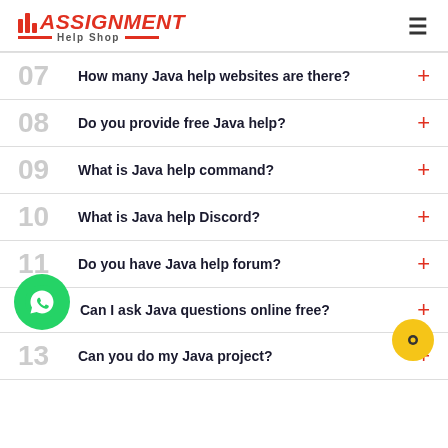Assignment Help Shop
07 How many Java help websites are there?
08 Do you provide free Java help?
09 What is Java help command?
10 What is Java help Discord?
11 Do you have Java help forum?
12 Can I ask Java questions online free?
13 Can you do my Java project?